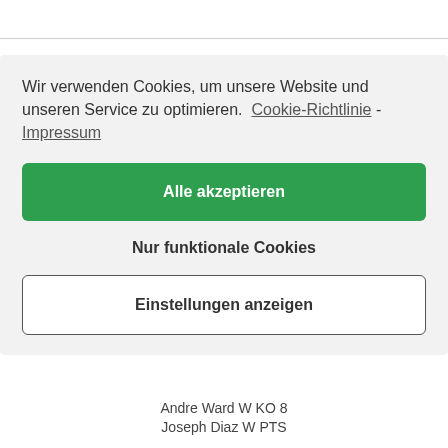Wir verwenden Cookies, um unsere Website und unseren Service zu optimieren. Cookie-Richtlinie - Impressum
Alle akzeptieren
Nur funktionale Cookies
Einstellungen anzeigen
Andre Ward W KO 8
Joseph Diaz W PTS